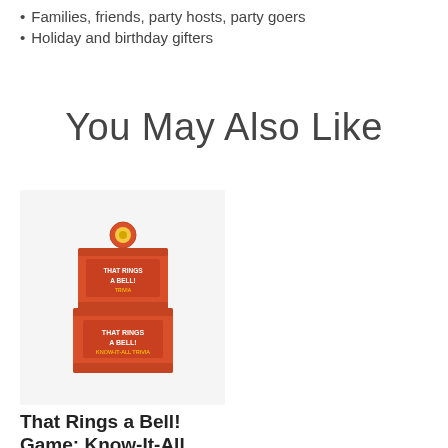Families, friends, party hosts, party goers
Holiday and birthday gifters
You May Also Like
[Figure (photo): Product photo of 'That Rings a Bell! Game: Know-It-All Trivia' showing two stacked red boxes on a light grey background]
That Rings a Bell! Game: Know-It-All Trivia
$19.95